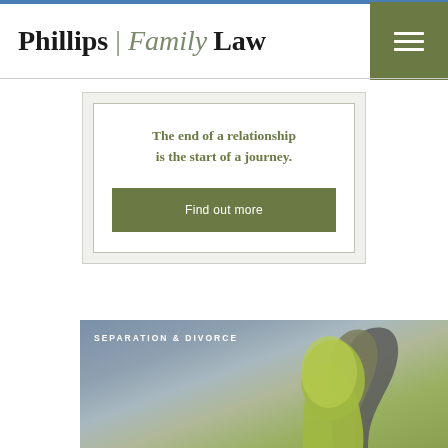[Figure (logo): Phillips | Family Law logo with serif text]
The end of a relationship is the start of a journey.
Find out more
[Figure (photo): Separation & Divorce section image showing layered silhouette heads in green and brown tones]